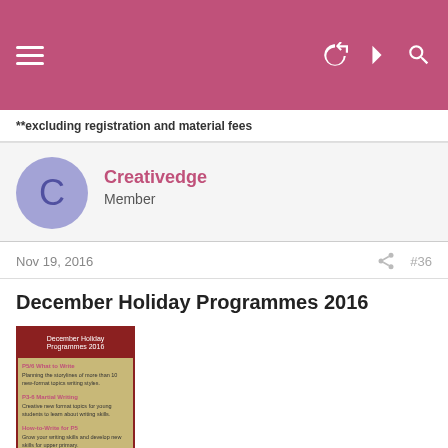Navigation bar with hamburger menu and icons
**excluding registration and material fees
Creativedge
Member
Nov 19, 2016  #36
December Holiday Programmes 2016
[Figure (photo): Thumbnail image of December Holiday Programmes 2016 brochure/flyer with red border on tan background]
P5/6 What-to-Write
12-14 Dec, 2 to 5pm
Planning the storylines of more than 10 new-format topics